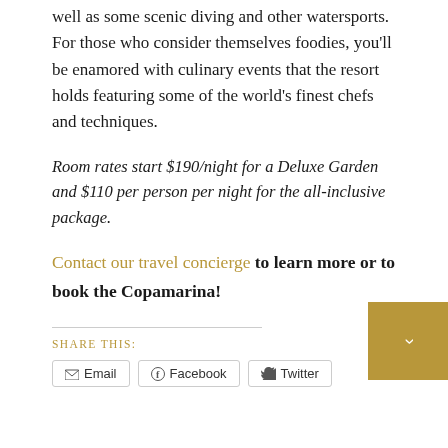well as some scenic diving and other watersports. For those who consider themselves foodies, you'll be enamored with culinary events that the resort holds featuring some of the world's finest chefs and techniques.
Room rates start $190/night for a Deluxe Garden and $110 per person per night for the all-inclusive package.
Contact our travel concierge to learn more or to book the Copamarina!
SHARE THIS:
Email   Facebook   Twitter